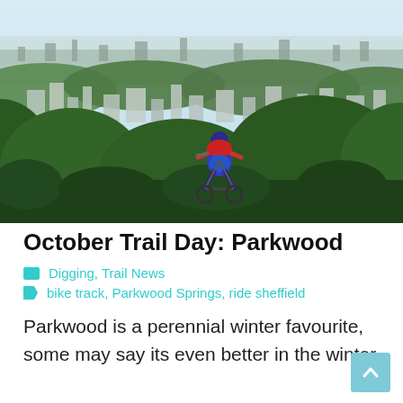[Figure (photo): A mountain biker descending a trail at Parkwood Springs with a panoramic view of Sheffield city below, green trees in foreground and mid-ground, urban buildings stretching to the horizon under a pale sky.]
October Trail Day: Parkwood
Digging, Trail News
bike track, Parkwood Springs, ride sheffield
Parkwood is a perennial winter favourite, some may say its even better in the winter